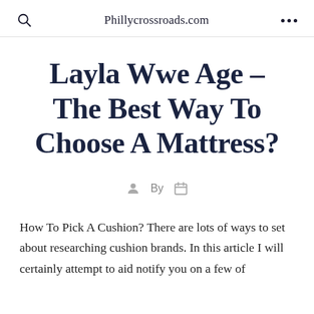Phillycrossroads.com
Layla Wwe Age – The Best Way To Choose A Mattress?
By
How To Pick A Cushion? There are lots of ways to set about researching cushion brands. In this article I will certainly attempt to aid notify you on a few of